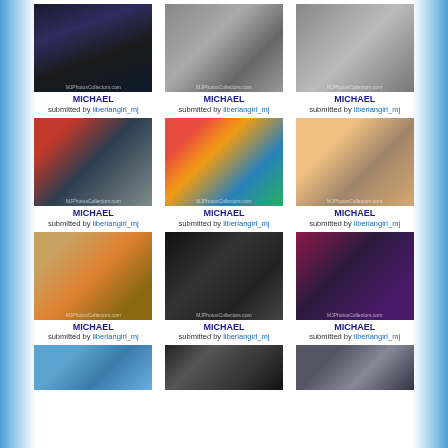[Figure (photo): Michael Jackson photo - dark stage lighting]
MICHAEL
submitted by liberiangirl_mj
[Figure (photo): Michael Jackson black and white photo with person]
MICHAEL
submitted by liberiangirl_mj
[Figure (photo): Michael Jackson black and white photo with sunglasses]
MICHAEL
submitted by liberiangirl_mj
[Figure (photo): Michael Jackson with people in red outfit]
MICHAEL
submitted by liberiangirl_mj
[Figure (photo): Michael Jackson with clowns in colorful setting]
MICHAEL
submitted by liberiangirl_mj
[Figure (photo): Michael Jackson with another person vintage photo]
MICHAEL
submitted by liberiangirl_mj
[Figure (photo): Michael Jackson with large afro and sunglasses]
MICHAEL
submitted by liberiangirl_mj
[Figure (photo): Black and white photo with birthday cake]
MICHAEL
submitted by liberiangirl_mj
[Figure (photo): Michael Jackson in purple/maroon background]
MICHAEL
submitted by liberiangirl_mj
[Figure (photo): Michael Jackson partial photo at bottom]
[Figure (photo): Michael Jackson partial photo at bottom]
[Figure (photo): Partial photo at bottom right]